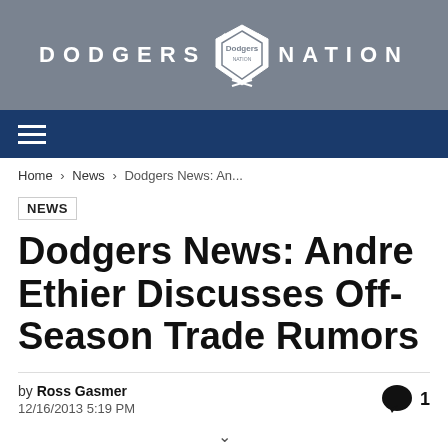DODGERS NATION
Home › News › Dodgers News: An...
NEWS
Dodgers News: Andre Ethier Discusses Off-Season Trade Rumors
by Ross Gasmer
12/16/2013 5:19 PM